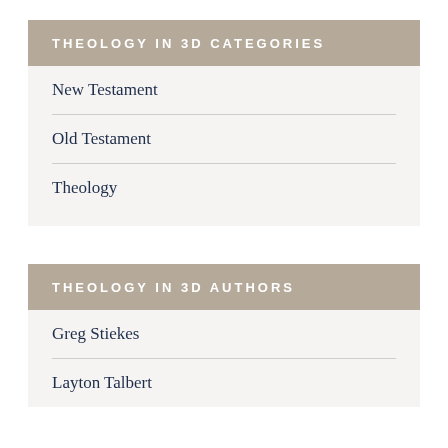THEOLOGY IN 3D CATEGORIES
New Testament
Old Testament
Theology
THEOLOGY IN 3D AUTHORS
Greg Stiekes
Layton Talbert